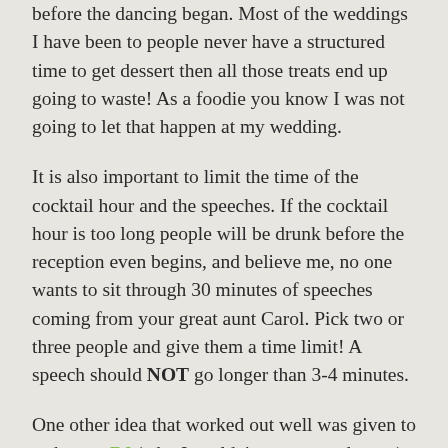before the dancing began. Most of the weddings I have been to people never have a structured time to get dessert then all those treats end up going to waste! As a foodie you know I was not going to let that happen at my wedding.
It is also important to limit the time of the cocktail hour and the speeches. If the cocktail hour is too long people will be drunk before the reception even begins, and believe me, no one wants to sit through 30 minutes of speeches coming from your great aunt Carol. Pick two or three people and give them a time limit! A speech should NOT go longer than 3-4 minutes.
One other idea that worked out well was given to us by our DJ (who I couldn't recommend more) to help get everyone started on the dance floor. He recommended starting a song everyone would love, then bringing couples onto the dance floor by how long they had been together. So, for example, first invite out couples that have been together for 50 years, then 25, then 10, and so on until you were